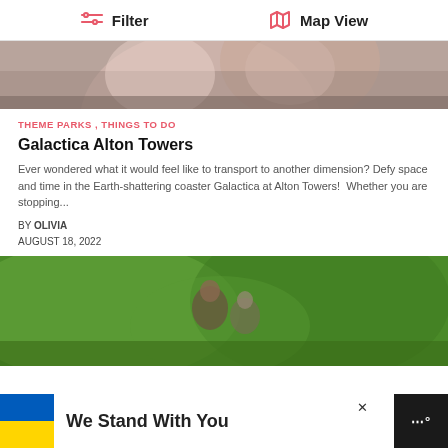Filter   Map View
[Figure (photo): Photo of people in a car, cropped, showing passengers from behind]
THEME PARKS , THINGS TO DO
Galactica Alton Towers
Ever wondered what it would feel like to transport to another dimension? Defy space and time in the Earth-shattering coaster Galactica at Alton Towers!  Whether you are stopping...
BY OLIVIA
AUGUST 18, 2022
[Figure (photo): Photo of two children crouching in green grass outdoors]
[Figure (screenshot): Ad banner: We Stand With You, Ukrainian flag colors, white background with dark logo]